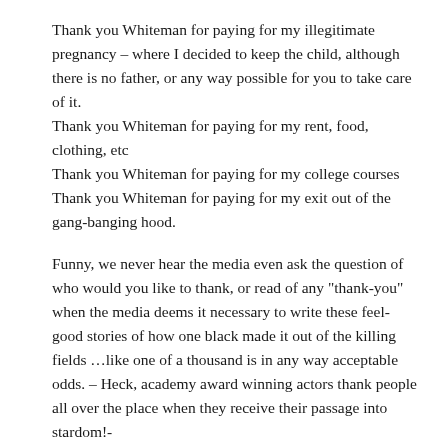Thank you Whiteman for paying for my illegitimate pregnancy – where I decided to keep the child, although there is no father, or any way possible for you to take care of it.
Thank you Whiteman for paying for my rent, food, clothing, etc
Thank you Whiteman for paying for my college courses
Thank you Whiteman for paying for my exit out of the gang-banging hood.
Funny, we never hear the media even ask the question of who would you like to thank, or read of any "thank-you" when the media deems it necessary to write these feel-good stories of how one black made it out of the killing fields …like one of a thousand is in any way acceptable odds. – Heck, academy award winning actors thank people all over the place when they receive their passage into stardom!-
Maybe this was what Obama was referring to when he said "You didn't build that" – because this gal most certainly didn't do anything by herself (except spread her legs and get pregnant …)